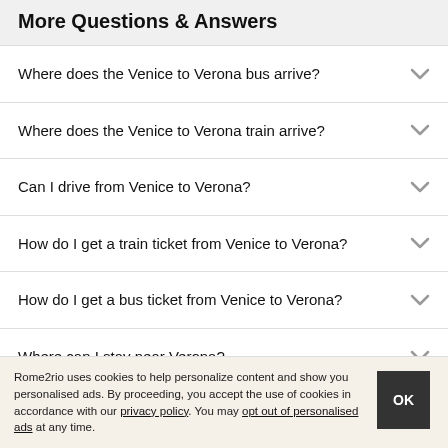More Questions & Answers
Where does the Venice to Verona bus arrive?
Where does the Venice to Verona train arrive?
Can I drive from Venice to Verona?
How do I get a train ticket from Venice to Verona?
How do I get a bus ticket from Venice to Verona?
Where can I stay near Verona?
Rome2rio uses cookies to help personalize content and show you personalised ads. By proceeding, you accept the use of cookies in accordance with our privacy policy. You may opt out of personalised ads at any time.